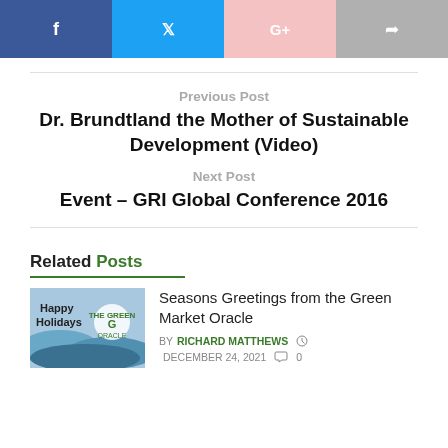[Figure (other): Social sharing buttons: Facebook (blue), Twitter (light blue), Google+ (light pink), Share (gray)]
Previous Post
Dr. Brundtland the Mother of Sustainable Development (Video)
Next Post
Event – GRI Global Conference 2016
Related Posts
[Figure (photo): Thumbnail image showing 'Happy Holidays' text with Green Market Oracle logo]
Seasons Greetings from the Green Market Oracle
BY RICHARD MATTHEWS  DECEMBER 24, 2021  0